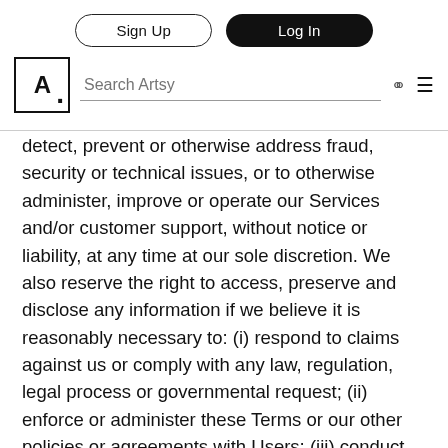Sign Up | Log In | Search Artsy
detect, prevent or otherwise address fraud, security or technical issues, or to otherwise administer, improve or operate our Services and/or customer support, without notice or liability, at any time at our sole discretion. We also reserve the right to access, preserve and disclose any information if we believe it is reasonably necessary to: (i) respond to claims against us or comply with any law, regulation, legal process or governmental request; (ii) enforce or administer these Terms or our other policies or agreements with Users; (iii) conduct customer support, or detect, prevent or otherwise address fraud, security or technical issues; or (iv) protect or enforce the rights, property or safety of Artsy, you, or others.